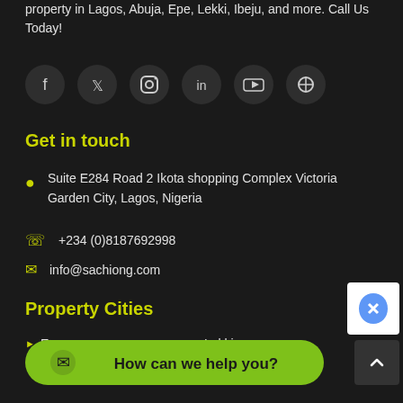property in Lagos, Abuja, Epe, Lekki, Ibeju, and more. Call Us Today!
[Figure (infographic): Row of 6 circular social media icon buttons (Facebook, Twitter, Instagram, LinkedIn, YouTube, Pinterest) on dark background]
Get in touch
Suite E284 Road 2 Ikota shopping Complex Victoria Garden City, Lagos, Nigeria
+234 (0)8187692998
info@sachiong.com
Property Cities
Epe
Lekki
[Figure (infographic): Green WhatsApp chat button with text 'How can we help you?']